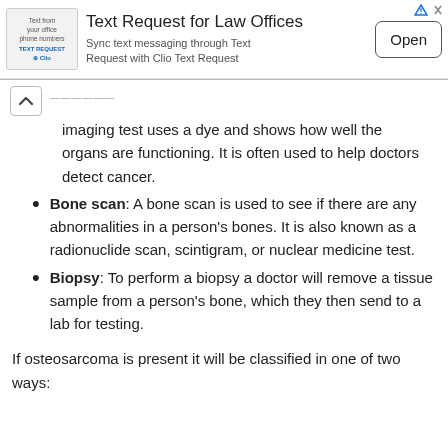[Figure (other): Advertisement banner for Text Request for Law Offices, showing a phone icon/logo, title, subtitle, and an Open button.]
imaging test uses a dye and shows how well the organs are functioning. It is often used to help doctors detect cancer.
Bone scan: A bone scan is used to see if there are any abnormalities in a person's bones. It is also known as a radionuclide scan, scintigram, or nuclear medicine test.
Biopsy: To perform a biopsy a doctor will remove a tissue sample from a person's bone, which they then send to a lab for testing.
If osteosarcoma is present it will be classified in one of two ways: